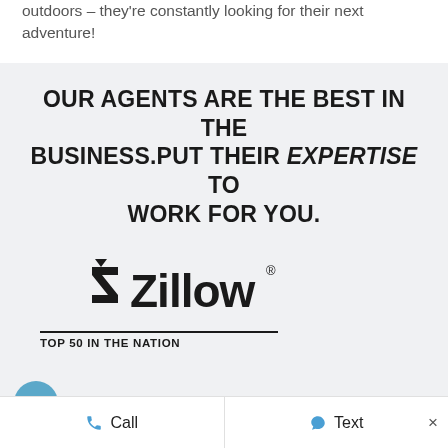outdoors – they're constantly looking for their next adventure!
OUR AGENTS ARE THE BEST IN THE BUSINESS. PUT THEIR EXPERTISE TO WORK FOR YOU.
[Figure (logo): Zillow logo with house/arrow icon and text 'Zillow' with registered trademark symbol, followed by 'TOP 50 IN THE NATION' tagline below a horizontal rule]
OUR CLIENTS SAY THE NICEST
Call   Text   ×